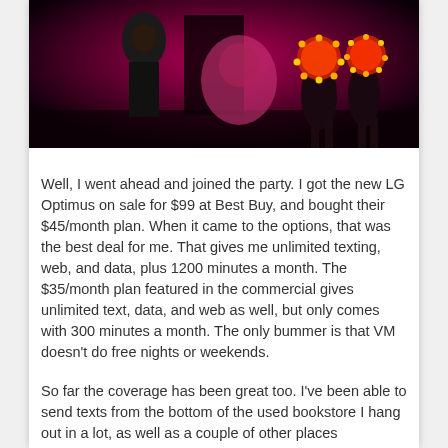[Figure (photo): A dark stage performance photo showing performers on stage with dramatic pink/red lighting. One figure in a dark suit is visible on the left, and two figures appear on the right side with glowing red/orange circular headdresses or hats. The background is deep red/magenta.]
Well, I went ahead and joined the party. I got the new LG Optimus on sale for $99 at Best Buy, and bought their $45/month plan. When it came to the options, that was the best deal for me. That gives me unlimited texting, web, and data, plus 1200 minutes a month. The $35/month plan featured in the commercial gives unlimited text, data, and web as well, but only comes with 300 minutes a month. The only bummer is that VM doesn't do free nights or weekends.
So far the coverage has been great too. I've been able to send texts from the bottom of the used bookstore I hang out in a lot, as well as a couple of other places